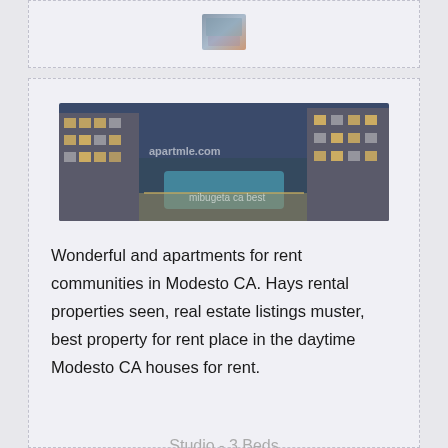[Figure (photo): Small thumbnail image in top card, partially visible apartment or building photo]
[Figure (photo): Aerial/courtyard view of a large apartment complex with pool area at dusk, with watermark text 'apartmle.com' and 'mibugata ca best']
Wonderful and apartments for rent communities in Modesto CA. Hays rental properties seen, real estate listings muster, best property for rent place in the daytime Modesto CA houses for rent.
Studio - 3 Beds
Sq ft: 2924